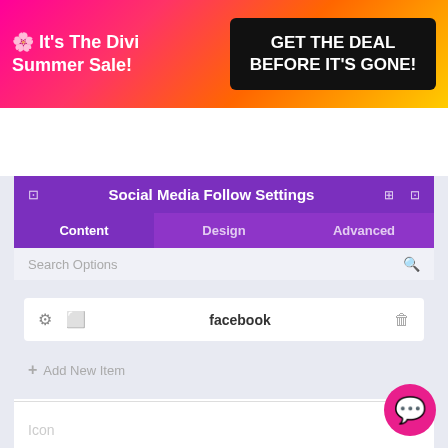[Figure (screenshot): Promotional banner for Divi Summer Sale with pink/orange gradient background. Left text: '🌸 It's The Divi Summer Sale!' Right black box: 'GET THE DEAL BEFORE IT'S GONE!']
[Figure (logo): Elegant Themes logo with italic serif text and pink asterisk star, hamburger menu icon in pink on the right]
Social Media Follow Settings
Content | Design | Advanced
Search Options
facebook
+ Add New Item
Icon
Admin Label